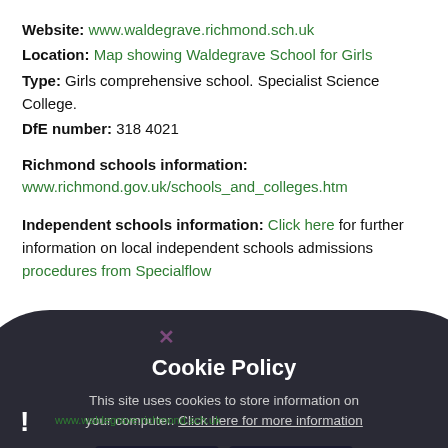Website: www.waldegrave.richmond.sch.uk
Location: Map showing Waldegrave School for Girls
Type: Girls comprehensive school. Specialist Science College.
DfE number: 318 4021
Richmond schools information:
www.richmond.gov.uk/schools_and_colleges.htm
Independent schools information: Click here for further information on local independent schools admissions procedures from Specialflow
[Figure (screenshot): Cookie Policy overlay with dark rounded panel showing: 'Cookie Policy' heading, body text 'This site uses cookies to store information on your computer. Click here for more information', and two buttons: 'Allow Cookies' and 'Deny Cookies'. A green panel is visible on the right side. A close X button is at the top. A dark bar at bottom left with exclamation mark.]